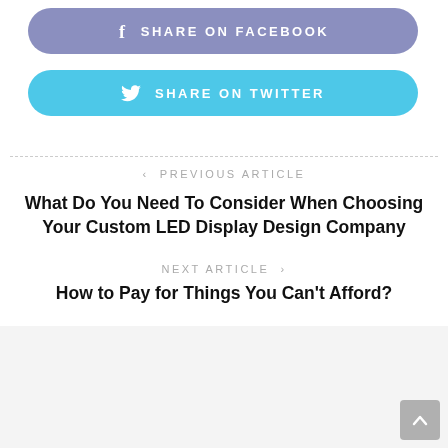f  SHARE ON FACEBOOK
SHARE ON TWITTER
< PREVIOUS ARTICLE
What Do You Need To Consider When Choosing Your Custom LED Display Design Company
NEXT ARTICLE >
How to Pay for Things You Can't Afford?
[Figure (illustration): Generic user avatar icon in gray circle]
COLTON EVA